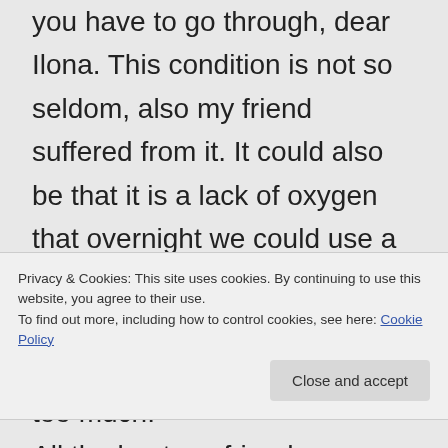you have to go through, dear Ilona. This condition is not so seldom, also my friend suffered from it. It could also be that it is a lack of oxygen that overnight we could use a kind of mask that gives us more oxygen. Hope you will not suffer from it too much. All the best my friend
Privacy & Cookies: This site uses cookies. By continuing to use this website, you agree to their use. To find out more, including how to control cookies, see here: Cookie Policy